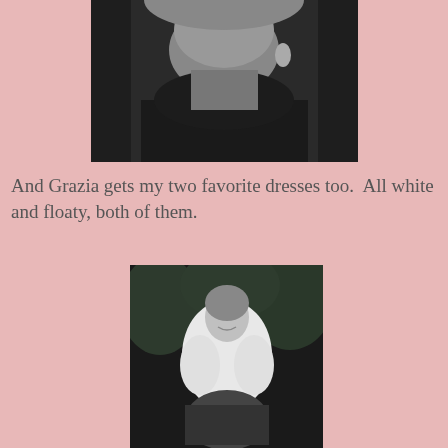[Figure (photo): Black and white close-up photo of a woman's lower face and neck, showing lips, chin, neck and an earring, wearing a dark top]
And Grazia gets my two favorite dresses too.  All white and floaty, both of them.
[Figure (photo): Black and white photo of a woman in a white dress or blouse, smiling, with tropical foliage in the background]